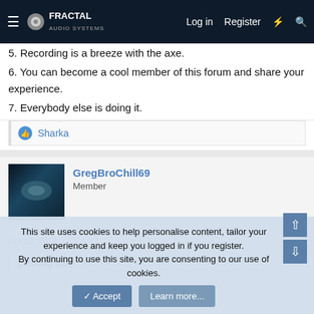Fractal Audio Systems — Log in  Register
5. Recording is a breeze with the axe.
6. You can become a cool member of this forum and share your experience.
7. Everybody else is doing it.
👍 Sharka
GregBroChill69
Member
Apr 10, 2013   #5
paulbag said: ↑
This site uses cookies to help personalise content, tailor your experience and keep you logged in if you register.
By continuing to use this site, you are consenting to our use of cookies.